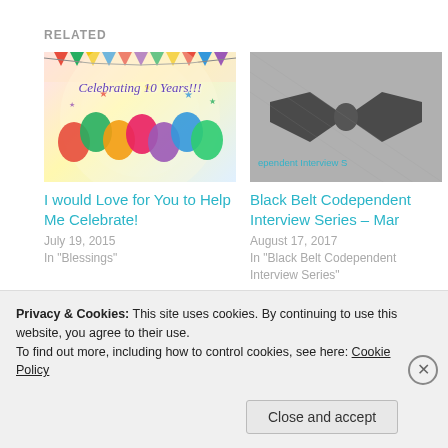RELATED
[Figure (photo): Colorful balloons and party flags image with text 'Celebrating 10 Years!!!']
I would Love for You to Help Me Celebrate!
July 19, 2015
In "Blessings"
[Figure (photo): Black and white photo of a bow tie with 'ependent Interview S' watermark in teal]
Black Belt Codependent Interview Series – Mar
August 17, 2017
In "Black Belt Codependent Interview Series"
[Figure (photo): Partial black and white photo of a bow tie with 'ependent Interview S' watermark in teal]
Privacy & Cookies: This site uses cookies. By continuing to use this website, you agree to their use.
To find out more, including how to control cookies, see here: Cookie Policy
Close and accept